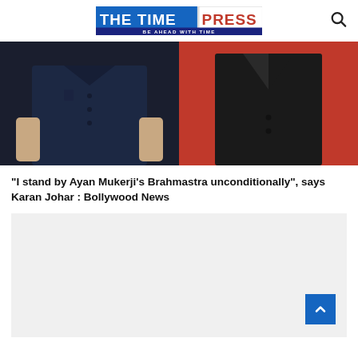THE TIME PRESS — BE AHEAD WITH TIME
[Figure (photo): Two-panel photo strip: left panel shows a person in a dark navy blue shirt against dark background; right panel shows a person in a black suit against a bright red background.]
“I stand by Ayan Mukerji’s Brahmastra unconditionally”, says Karan Johar : Bollywood News
[Figure (other): Gray advertisement/content placeholder box.]